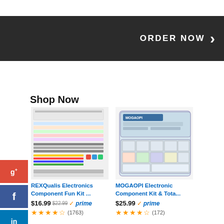[Figure (screenshot): Dark banner with ORDER NOW text and right arrow chevron]
Shop Now
[Figure (photo): REXQualis Electronics Component Fun Kit - assorted electronic components laid out]
REXQualis Electronics Component Fun Kit ...
$16.99  $22.99  prime
(1763)
[Figure (photo): MOGAOPI Electronic Component Kit in a plastic organizer case]
MOGAOPI Electronic Component Kit & Tota...
$25.99  prime
(172)